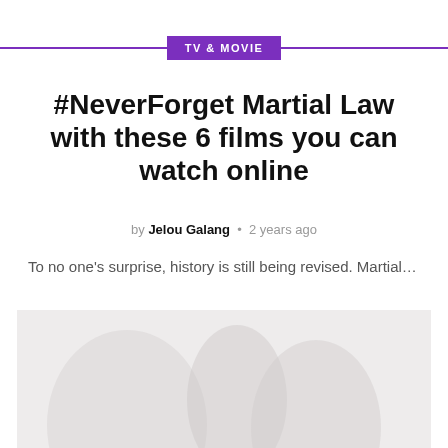TV & MOVIE
#NeverForget Martial Law with these 6 films you can watch online
by Jelou Galang • 2 years ago
To no one's surprise, history is still being revised. Martial…
[Figure (photo): Faded/washed-out photograph serving as article hero image, showing indistinct figures with very low contrast against a light gray background.]